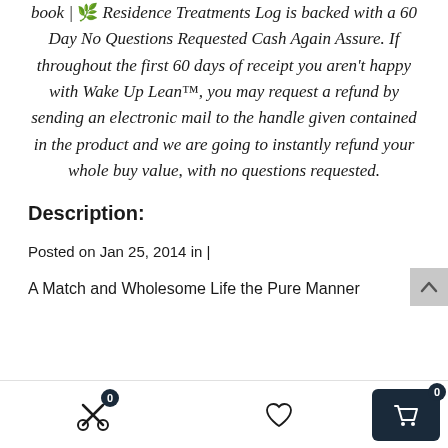book | 🌿 Residence Treatments Log is backed with a 60 Day No Questions Requested Cash Again Assure. If throughout the first 60 days of receipt you aren't happy with Wake Up Lean™, you may request a refund by sending an electronic mail to the handle given contained in the product and we are going to instantly refund your whole buy value, with no questions requested.
Description:
Posted on Jan 25, 2014 in |
A Match and Wholesome Life the Pure Manner